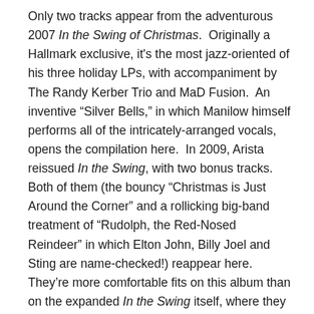Only two tracks appear from the adventurous 2007 In the Swing of Christmas.  Originally a Hallmark exclusive, it's the most jazz-oriented of his three holiday LPs, with accompaniment by The Randy Kerber Trio and MaD Fusion.  An inventive “Silver Bells,” in which Manilow himself performs all of the intricately-arranged vocals, opens the compilation here.  In 2009, Arista reissued In the Swing, with two bonus tracks.  Both of them (the bouncy “Christmas is Just Around the Corner” and a rollicking big-band treatment of “Rudolph, the Red-Nosed Reindeer” in which Elton John, Billy Joel and Sting are name-checked!) reappear here.  They’re more comfortable fits on this album than on the expanded In the Swing itself, where they clashed with the intimate jazz material.
Manilow’s Classic Christmas Album is a delightful romp through the singer’s holiday catalogue.  One only wishes